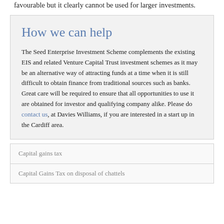favourable but it clearly cannot be used for larger investments.
How we can help
The Seed Enterprise Investment Scheme complements the existing EIS and related Venture Capital Trust investment schemes as it may be an alternative way of attracting funds at a time when it is still difficult to obtain finance from traditional sources such as banks. Great care will be required to ensure that all opportunities to use it are obtained for investor and qualifying company alike. Please do contact us, at Davies Williams, if you are interested in a start up in the Cardiff area.
Capital gains tax
Capital Gains Tax on disposal of chattels